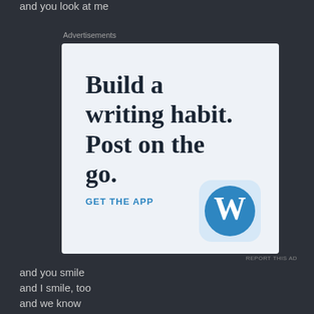and you look at me
Advertisements
[Figure (other): WordPress app advertisement: 'Build a writing habit. Post on the go.' with GET THE APP call-to-action and WordPress logo]
REPORT THIS AD
and you smile
and I smile, too
and we know